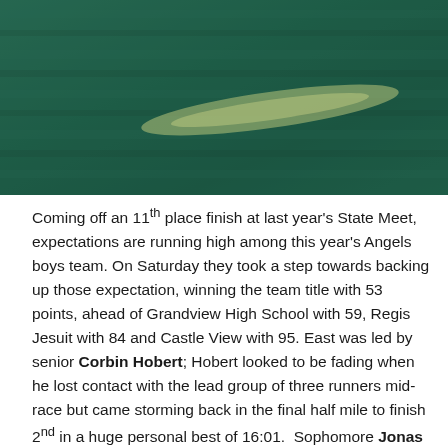[Figure (photo): Aerial or close-up view of a green grass field with a light-colored streak or line visible on the turf.]
Coming off an 11th place finish at last year's State Meet, expectations are running high among this year's Angels boys team. On Saturday they took a step towards backing up those expectation, winning the team title with 53 points, ahead of Grandview High School with 59, Regis Jesuit with 84 and Castle View with 95. East was led by senior Corbin Hobert; Hobert looked to be fading when he lost contact with the lead group of three runners mid-race but came storming back in the final half mile to finish 2nd in a huge personal best of 16:01.  Sophomore Jonas Scudamore ran most of the race no farther up than 8th place and also ran an impressive last half mile to grab